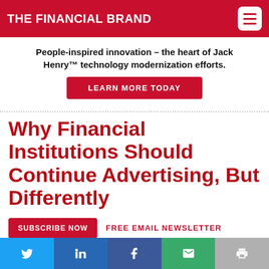THE FINANCIAL BRAND
People-inspired innovation – the heart of Jack Henry™ technology modernization efforts.
LEARN MORE TODAY
Why Financial Institutions Should Continue Advertising, But Differently
SUBSCRIBE NOW  FREE EMAIL NEWSLETTER
Ad spending is already in the crosshairs
[Figure (infographic): Social share bar with Twitter, LinkedIn, Facebook, Email, and Print buttons]